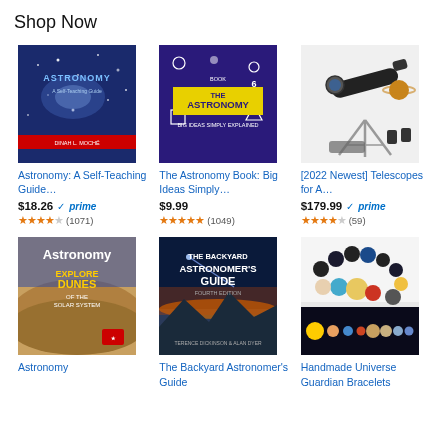Shop Now
[Figure (screenshot): Product grid showing astronomy books, telescope, and bracelet. Row 1: Astronomy: A Self-Teaching Guide ($18.26, prime, 4.5 stars, 1071 reviews), The Astronomy Book: Big Ideas Simply ($9.99, 5 stars, 1049 reviews), [2022 Newest] Telescopes for A... ($179.99, prime, 4 stars, 59 reviews). Row 2: Astronomy (magazine), The Backyard Astronomer's Guide (Fourth Edition), Handmade Universe Guardian Bracelets.]